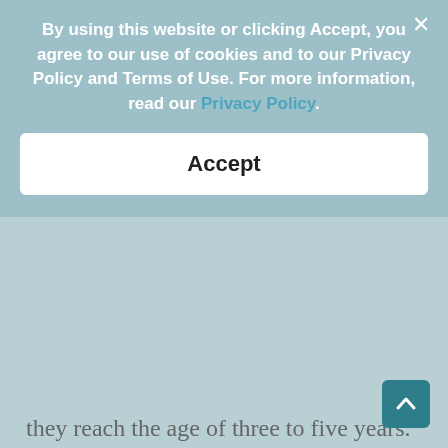By using this website or clicking Accept, you agree to our use of cookies and to our Privacy Policy and Terms of Use. For more information, read our Privacy Policy.
Accept
they reach the age of three to five years. PRA does not hurt; however, it cannot be treated. Usually, dogs that have this will experience night blindness as an early symptom.